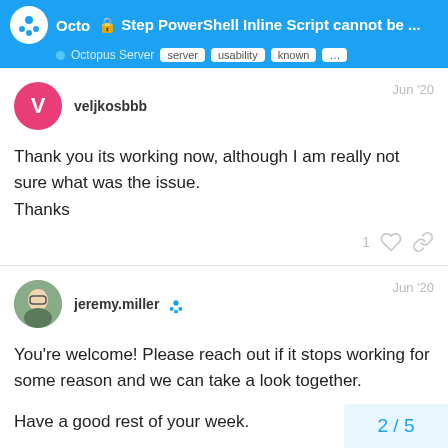🔒 Step PowerShell Inline Script cannot be ... | Octopus Server | server | usability | known | ...
veljkosbbb  Jun '20
Thank you its working now, although I am really not sure what was the issue.
Thanks
jeremy.miller  Jun '20
You're welcome! Please reach out if it stops working for some reason and we can take a look together.

Have a good rest of your week.
2 / 5